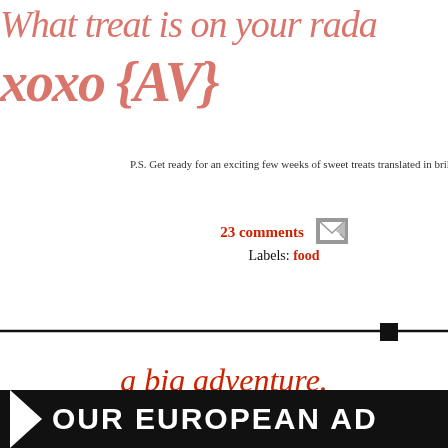What treat is on your rada
xoxo {AV}
P.S. Get ready for an exciting few weeks of sweet treats translated in brilliant ways by a few
23 comments  Labels: food
a big adventure.
I've dropped hints here and there, but the trip is finally upon us! {cv} and biggest travel adventure yet--we're bound for France, Ge Here's a little play-by-play of where we're
OUR EUROPEAN AD